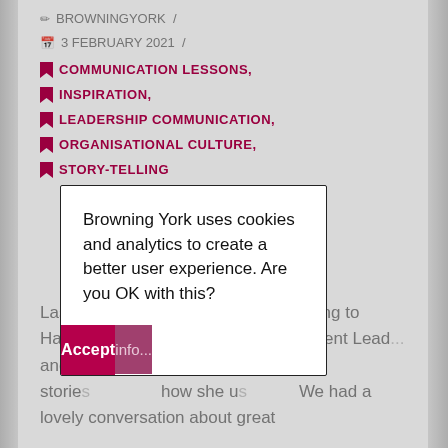✏ BROWNINGYORK /
📅 3 FEBRUARY 2021 /
🔖 COMMUNICATION LESSONS,
🔖 INSPIRATION,
🔖 LEADERSHIP COMMUNICATION,
🔖 ORGANISATIONAL CULTURE,
🔖 STORY-TELLING
Last week I had the pleasure of chatting to Hayley Wright, Comms and Engagement Lead... and Traffo... n articl... bout invol... storie... now she u... We had a lovely conversation about great
Browning York uses cookies and analytics to create a better user experience. Are you OK with this?
Accept | info...